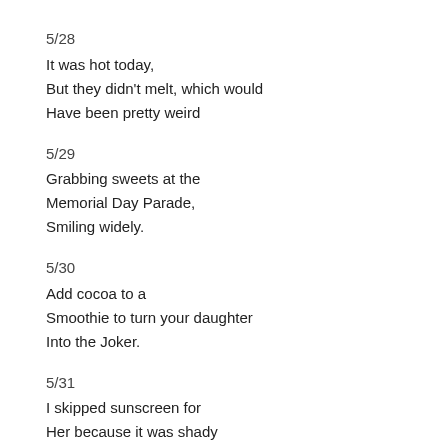5/28
It was hot today,
But they didn't melt, which would
Have been pretty weird
5/29
Grabbing sweets at the
Memorial Day Parade,
Smiling widely.
5/30
Add cocoa to a
Smoothie to turn your daughter
Into the Joker.
5/31
I skipped sunscreen for
Her because it was shady
And now she's sunburned.
6/1